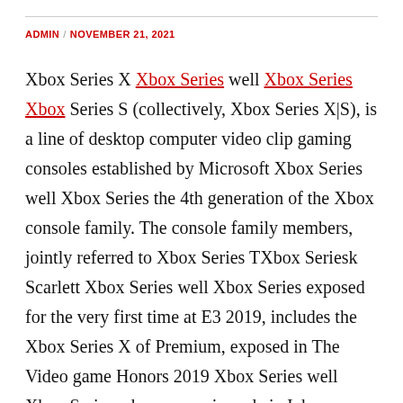ADMIN / NOVEMBER 21, 2021
Xbox Series X Xbox Series well Xbox Series Xbox Series S (collectively, Xbox Series X|S), is a line of desktop computer video clip gaming consoles established by Microsoft Xbox Series well Xbox Series the 4th generation of the Xbox console family. The console family members, jointly referred to Xbox Series TXbox Seriesk Scarlett Xbox Series well Xbox Series exposed for the very first time at E3 2019, includes the Xbox Series X of Premium, exposed in The Video game Honors 2019 Xbox Series well Xbox Series whose name in code is Job Anaconda, and also The Xbox Series S of lower cost, introduced in September 2020